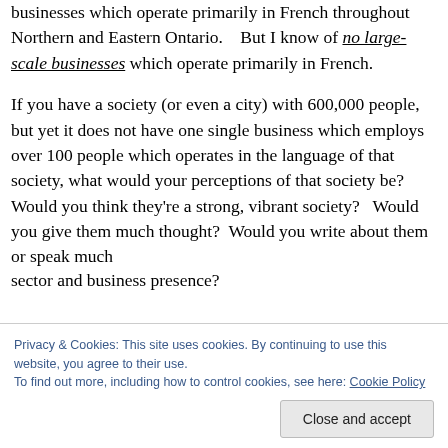businesses which operate primarily in French throughout Northern and Eastern Ontario.  But I know of no large-scale businesses which operate primarily in French.
If you have a society (or even a city) with 600,000 people, but yet it does not have one single business which employs over 100 people which operates in the language of that society, what would your perceptions of that society be?  Would you think they're a strong, vibrant society?   Would you give them much thought?  Would you write about them or speak much
sector and business presence?
Privacy & Cookies: This site uses cookies. By continuing to use this website, you agree to their use.
To find out more, including how to control cookies, see here: Cookie Policy